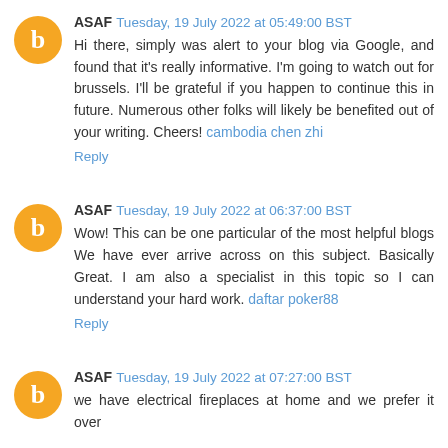ASAF Tuesday, 19 July 2022 at 05:49:00 BST
Hi there, simply was alert to your blog via Google, and found that it's really informative. I'm going to watch out for brussels. I'll be grateful if you happen to continue this in future. Numerous other folks will likely be benefited out of your writing. Cheers! cambodia chen zhi
Reply
ASAF Tuesday, 19 July 2022 at 06:37:00 BST
Wow! This can be one particular of the most helpful blogs We have ever arrive across on this subject. Basically Great. I am also a specialist in this topic so I can understand your hard work. daftar poker88
Reply
ASAF Tuesday, 19 July 2022 at 07:27:00 BST
we have electrical fireplaces at home and we prefer it over